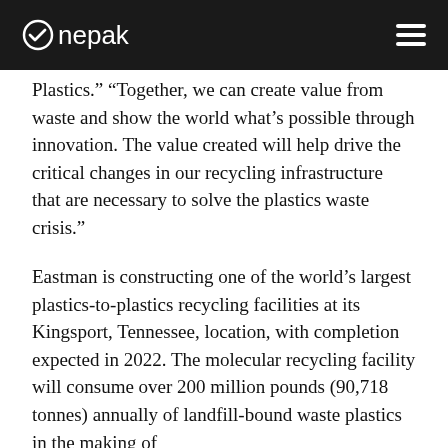Onepak
Plastics.” “Together, we can create value from waste and show the world what’s possible through innovation. The value created will help drive the critical changes in our recycling infrastructure that are necessary to solve the plastics waste crisis.”
Eastman is constructing one of the world’s largest plastics-to-plastics recycling facilities at its Kingsport, Tennessee, location, with completion expected in 2022. The molecular recycling facility will consume over 200 million pounds (90,718 tonnes) annually of landfill-bound waste plastics in the making of